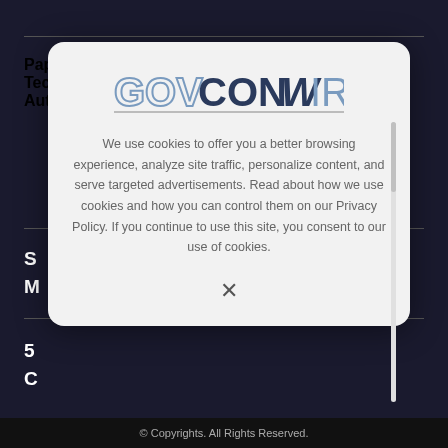Paperless Innovations' Mike Tocci: Cloud-Based Tech Could Facilitate Agency Procurement Automation
[Figure (screenshot): GovConWire cookie consent modal dialog with logo, cookie policy text, and close button X]
We use cookies to offer you a better browsing experience, analyze site traffic, personalize content, and serve targeted advertisements. Read about how we use cookies and how you can control them on our Privacy Policy. If you continue to use this site, you consent to our use of cookies.
© Copyrights. All Rights Reserved.